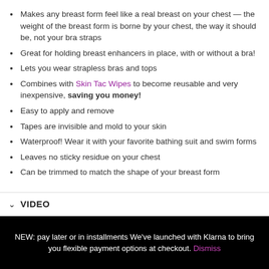Makes any breast form feel like a real breast on your chest — the weight of the breast form is borne by your chest, the way it should be, not your bra straps
Great for holding breast enhancers in place, with or without a bra!
Lets you wear strapless bras and tops
Combines with Skin Tac Wipes to become reusable and very inexpensive, saving you money!
Easy to apply and remove
Tapes are invisible and mold to your skin
Waterproof! Wear it with your favorite bathing suit and swim forms
Leaves no sticky residue on your chest
Can be trimmed to match the shape of your breast form
VIDEO
NEW: pay later or in installments We've launched with Klarna to bring you flexible payment options at checkout. Dismiss